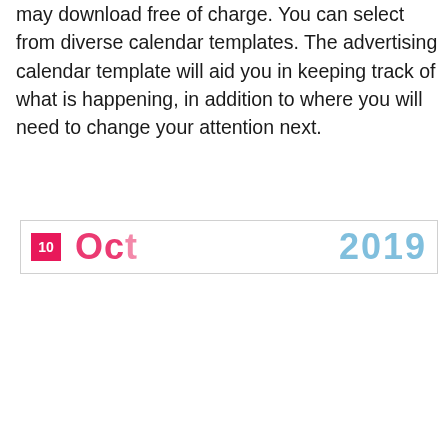may download free of charge. You can select from diverse calendar templates. The advertising calendar template will aid you in keeping track of what is happening, in addition to where you will need to change your attention next.
[Figure (other): Partial view of a calendar template showing a pink/magenta badge with '10', partial pink text of month name, and partial blue '2019' year text, with a light border.]